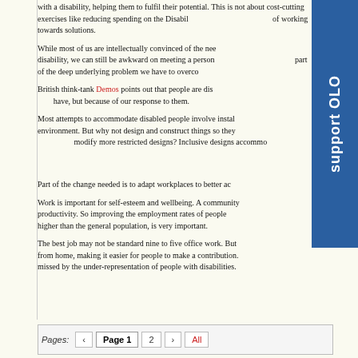with a disability, helping them to fulfil their potential. This is not about cost-cutting exercises like reducing spending on the Disability Living Allowance, but of working towards solutions.
While most of us are intellectually convinced of the need to include people with a disability, we can still be awkward on meeting a person with a disability. This is part of the deep underlying problem we have to overcome.
British think-tank Demos points out that people are disabled not by the conditions they have, but because of our response to them.
Most attempts to accommodate disabled people involve installing aids in the existing environment. But why not design and construct things so they can be used by all, rather than modify more restricted designs? Inclusive designs accommodate everyone.
Part of the change needed is to adapt workplaces to better accommodate people with disabilities.
Work is important for self-esteem and wellbeing. A community benefits from employment and productivity. So improving the employment rates of people with disabilities, which are much higher than the general population, is very important.
The best job may not be standard nine to five office work. But technology now allows working from home, making it easier for people to make a contribution. Businesses are also missing out, missed by the under-representation of people with disabilities.
Pages: ‹ Page 1 2 › All